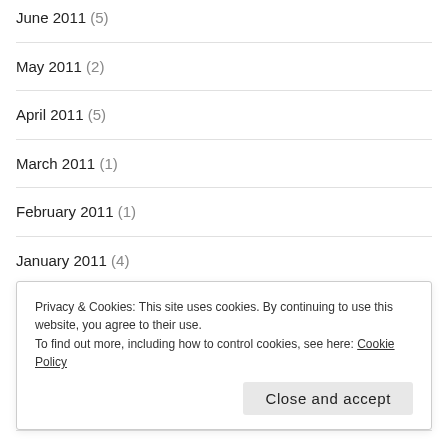June 2011 (5)
May 2011 (2)
April 2011 (5)
March 2011 (1)
February 2011 (1)
January 2011 (4)
November 2010 (3)
October 2010 (8)
September 2010 (9)
August 2010 (11)
Privacy & Cookies: This site uses cookies. By continuing to use this website, you agree to their use.
To find out more, including how to control cookies, see here: Cookie Policy
Close and accept